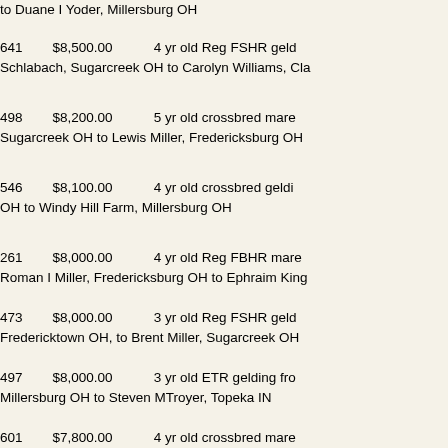to Duane I Yoder, Millersburg OH
641   $8,500.00   4 yr old Reg FSHR geld Schlabach, Sugarcreek OH to Carolyn Williams, Cla
498   $8,200.00   5 yr old crossbred mare Sugarcreek OH to Lewis Miller, Fredericksburg OH
546   $8,100.00   4 yr old crossbred geldi OH to Windy Hill Farm, Millersburg OH
261   $8,000.00   4 yr old Reg FBHR mare Roman I Miller, Fredericksburg OH to Ephraim King
473   $8,000.00   3 yr old Reg FSHR geld Fredericktown OH, to Brent Miller, Sugarcreek OH
497   $8,000.00   3 yr old ETR gelding fro Millersburg OH to Steven MTroyer, Topeka IN
601   $7,800.00   4 yr old crossbred mare Fredericksburg OH to Travis Fleming, Fenton OH
413   $7,700.00   3 yr old Reg FSHR mare Fredericktown OH to Jesse Miller, Flemingsburg KY
478   $7,700.00   4 yr old ETR FSHR mare Lakeville OH to Ammon N Yoder, Fredericktown OH